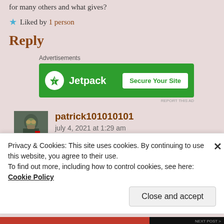for many others and what gives?
★ Liked by 1 person
Reply
[Figure (screenshot): Jetpack advertisement banner with green background, Jetpack logo on the left, and 'Secure Your Site' button on the right]
patrick101010101
july 4, 2021 at 1:29 am
Privacy & Cookies: This site uses cookies. By continuing to use this website, you agree to their use.
To find out more, including how to control cookies, see here: Cookie Policy
Close and accept